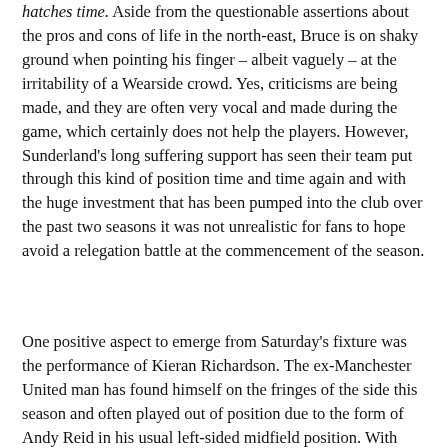hatches time. Aside from the questionable assertions about the pros and cons of life in the north-east, Bruce is on shaky ground when pointing his finger – albeit vaguely – at the irritability of a Wearside crowd. Yes, criticisms are being made, and they are often very vocal and made during the game, which certainly does not help the players. However, Sunderland's long suffering support has seen their team put through this kind of position time and time again and with the huge investment that has been pumped into the club over the past two seasons it was not unrealistic for fans to hope avoid a relegation battle at the commencement of the season.
One positive aspect to emerge from Saturday's fixture was the performance of Kieran Richardson. The ex-Manchester United man has found himself on the fringes of the side this season and often played out of position due to the form of Andy Reid in his usual left-sided midfield position. With Reid's hamstring injury it looks like Richardson will be given another chance to prove his worth and he got off to an excellent start against Arsenal. Playing as an attacking midfielder he put in an